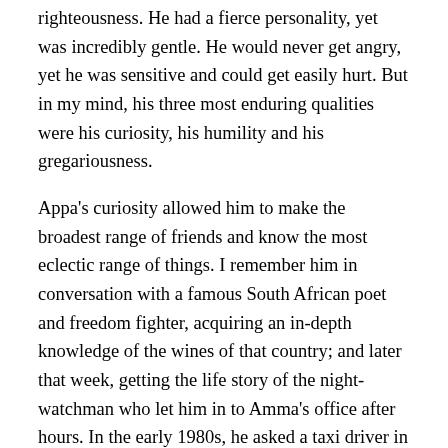righteousness. He had a fierce personality, yet was incredibly gentle. He would never get angry, yet he was sensitive and could get easily hurt. But in my mind, his three most enduring qualities were his curiosity, his humility and his gregariousness.
Appa's curiosity allowed him to make the broadest range of friends and know the most eclectic range of things. I remember him in conversation with a famous South African poet and freedom fighter, acquiring an in-depth knowledge of the wines of that country; and later that week, getting the life story of the night-watchman who let him in to Amma's office after hours. In the early 1980s, he asked a taxi driver in New York so many questions that the cabbie, suitably impressed, took him on a night tour of harlem to show him the neighborhood